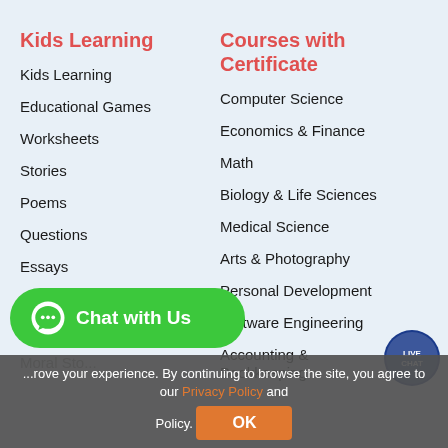Kids Learning
Kids Learning
Educational Games
Worksheets
Stories
Poems
Questions
Essays
GK Questions
Educational Video
Moral Stories
Courses with Certificate
Computer Science
Economics & Finance
Math
Biology & Life Sciences
Medical Science
Arts & Photography
Personal Development
Software Engineering
Accounting & Bookkeeping
Chat with Us
...rove your experience. By continuing to browse the site, you agree to our Privacy Policy and ... Policy.
OK